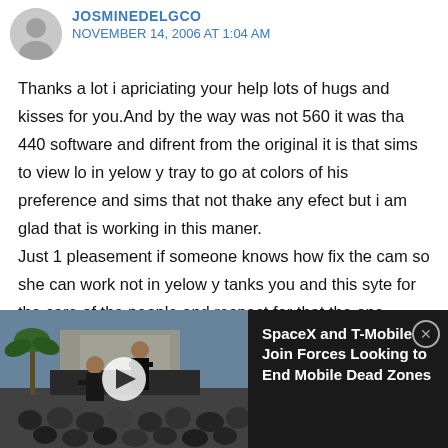JOSMINEDELGCO — NOVEMBER 14, 2006 AT 1:04 AM
Thanks a lot i apriciating your help lots of hugs and kisses for you.And by the way was not 560 it was tha 440 software and difrent from the original it is that sims to view lo in yelow y tray to go at colors of his preference and sims that not thake any efect but i am glad that is working in this maner.
Just 1 pleasement if someone knows how fix the cam so she can work not in yelow y tanks you and this syte for the care of the people and respect for that the one becouse
[Figure (screenshot): Video ad overlay showing two people on stage with a crowd, with a play button overlay. Text reads: SpaceX and T-Mobile Join Forces Looking to End Mobile Dead Zones with a close button.]